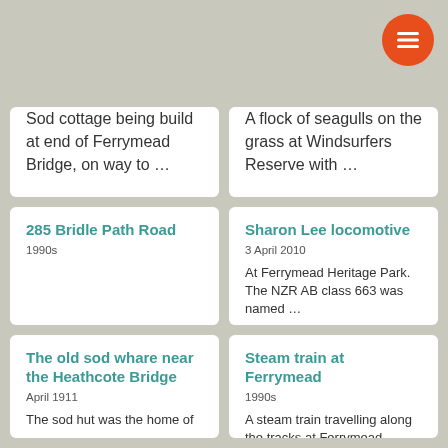Sod cottage being build at end of Ferrymead Bridge, on way to …
A flock of seagulls on the grass at Windsurfers Reserve with …
285 Bridle Path Road
1990s
Sharon Lee locomotive
3 April 2010
At Ferrymead Heritage Park. The NZR AB class 663 was named …
The old sod whare near the Heathcote Bridge
April 1911
The sod hut was the home of
Steam train at Ferrymead
1990s
A steam train travelling along the tracks at Ferrymead